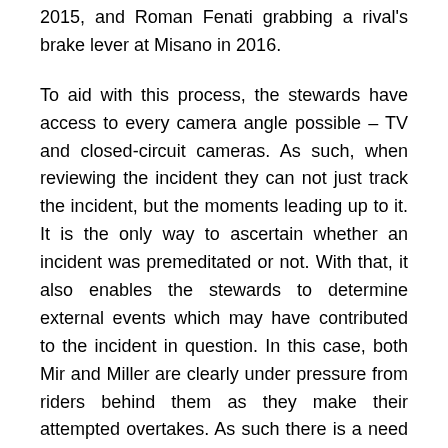2015, and Roman Fenati grabbing a rival's brake lever at Misano in 2016.
To aid with this process, the stewards have access to every camera angle possible – TV and closed-circuit cameras. As such, when reviewing the incident they can not just track the incident, but the moments leading up to it. It is the only way to ascertain whether an incident was premeditated or not. With that, it also enables the stewards to determine external events which may have contributed to the incident in question. In this case, both Mir and Miller are clearly under pressure from riders behind them as they make their attempted overtakes. As such there is a need and urgency from the